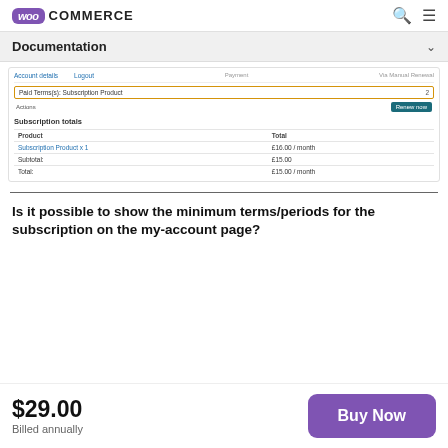WooCommerce
Documentation
[Figure (screenshot): WooCommerce my-account subscription page screenshot showing account navigation links, a payment row with 'Paid Terms(s): Subscription Product' highlighted in an orange/yellow border with value '2', an Actions row with a teal 'Renew now' button, and a Subscription totals table showing Product: Subscription Product x 1, Total: £16.00/month, Subtotal: £15.00, Total: £15.00/month]
Is it possible to show the minimum terms/periods for the subscription on the my-account page?
$29.00
Billed annually
Buy Now